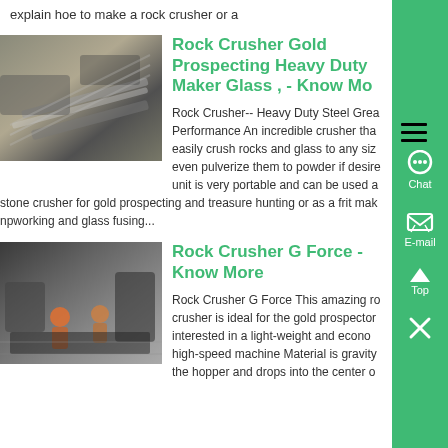explain hoe to make a rock crusher or a
[Figure (photo): Industrial machinery/conveyor equipment, aerial view]
Rock Crusher Gold Prospecting Heavy Duty Maker Glass , - Know Mo
Rock Crusher-- Heavy Duty Steel Great Performance An incredible crusher that easily crush rocks and glass to any size even pulverize them to powder if desired unit is very portable and can be used a stone crusher for gold prospecting and treasure hunting or as a frit mak npworking and glass fusing...
[Figure (photo): Industrial workshop with workers and machinery]
Rock Crusher G Force - Know More
Rock Crusher G Force This amazing ro crusher is ideal for the gold prospector interested in a light-weight and econo high-speed machine Material is gravity the hopper and drops into the center o